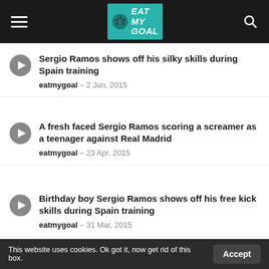EAT MY GOAL
Sergio Ramos shows off his silky skills during Spain training
eatmygoal – 2 Jun, 2015
A fresh faced Sergio Ramos scoring a screamer as a teenager against Real Madrid
eatmygoal – 23 Apr, 2015
Birthday boy Sergio Ramos shows off his free kick skills during Spain training
eatmygoal – 31 Mar, 2015
Sergio Ramos' towering header vs San Lorenzo
eatmygoal – 20 Dec, 2014
This website uses cookies. Ok got it, now get rid of this box. Accept